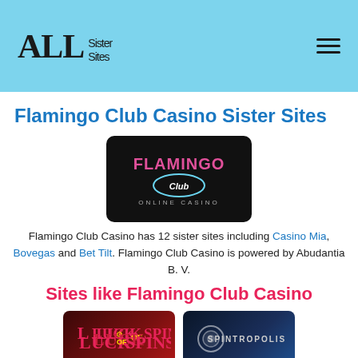ALL Sister Sites
Flamingo Club Casino Sister Sites
[Figure (logo): Flamingo Club Online Casino logo on black background]
Flamingo Club Casino has 12 sister sites including Casino Mia, Bovegas and Bet Tilt. Flamingo Club Casino is powered by Abudantia B. V.
Sites like Flamingo Club Casino
[Figure (logo): Luck of Spins casino logo on dark red background]
[Figure (logo): Spintropolis casino logo on dark blue background]